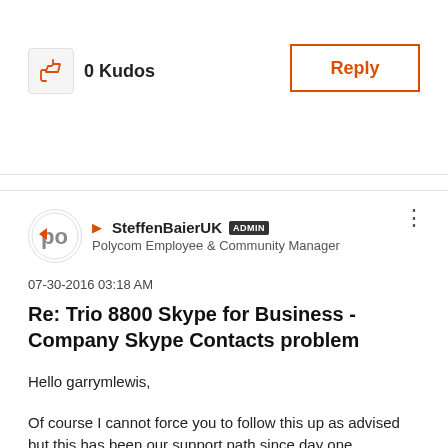0 Kudos
Reply
SteffenBaierUK ADMIN
Polycom Employee & Community Manager
07-30-2016 03:18 AM
Re: Trio 8800 Skype for Business - Company Skype Contacts problem
Hello garrymlewis,
Of course I cannot force you to follow this up as advised but this has been our support path since day one.